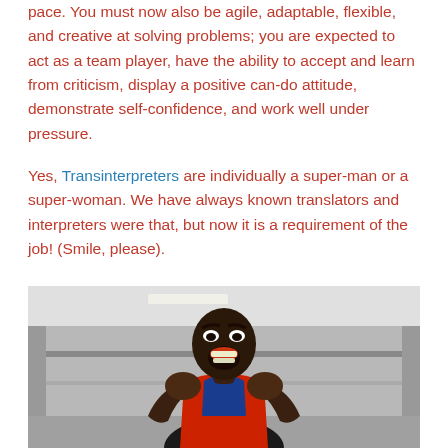pace. You must now also be agile, adaptable, flexible, and creative at solving problems; you are expected to act as a team player, have the ability to accept and learn from criticism, display a positive can-do attitude, demonstrate self-confidence, and work well under pressure.
Yes, Transinterpreters are individually a super-man or a super-woman. We have always known translators and interpreters were that, but now it is a requirement of the job! (Smile, please).
[Figure (photo): A muscular Black man in a red and blue athletic tank top, mouth open wide in an excited roar, photographed in what appears to be a gym setting with equipment visible in the background.]